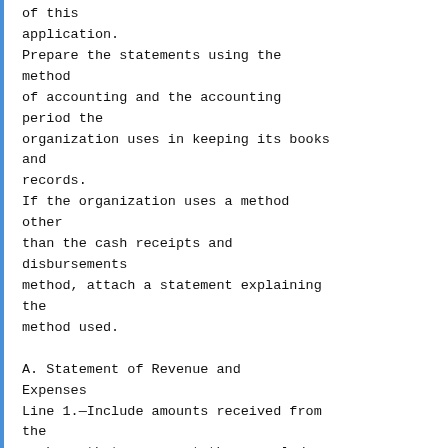of this application. Prepare the statements using the method of accounting and the accounting period the organization uses in keeping its books and records. If the organization uses a method other than the cash receipts and disbursements method, attach a statement explaining the method used.
A. Statement of Revenue and Expenses Line 1.—Include amounts received from the members that represent the annual dues